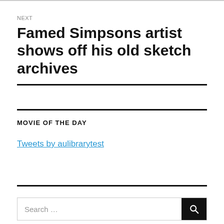NEXT
Famed Simpsons artist shows off his old sketch archives
MOVIE OF THE DAY
Tweets by aulibrarytest